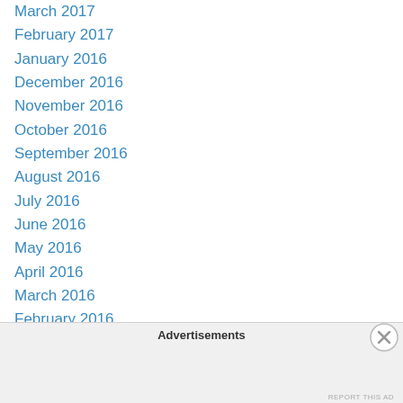March 2017
February 2017
January 2016
December 2016
November 2016
October 2016
September 2016
August 2016
July 2016
June 2016
May 2016
April 2016
March 2016
February 2016
January 2016
December 2015
November 2015
Advertisements
REPORT THIS AD